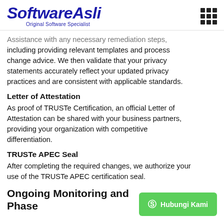SoftwareAsli — Original Software Specialist
Assistance with any necessary remediation steps, including providing relevant templates and process change advice. We then validate that your privacy statements accurately reflect your updated privacy practices and are consistent with applicable standards.
Letter of Attestation
As proof of TRUSTe Certification, an official Letter of Attestation can be shared with your business partners, providing your organization with competitive differentiation.
TRUSTe APEC Seal
After completing the required changes, we authorize your use of the TRUSTe APEC certification seal.
Ongoing Monitoring and Phase